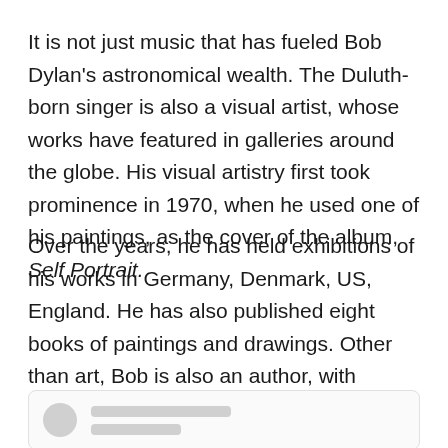It is not just music that has fueled Bob Dylan's astronomical wealth. The Duluth-born singer is also a visual artist, whose works have featured in galleries around the globe. His visual artistry first took prominence in 1970, when he used one of his paintings, as the cover of the album, Self Portrait.
Over the years, he has held exhibitions of his works in Germany, Denmark, US, England. He has also published eight books of paintings and drawings. Other than art, Bob is also an author, with multiple published books.
[Figure (other): A UI card element with a circular avatar placeholder and two rectangular content placeholder lines, partially visible at the bottom of the page.]